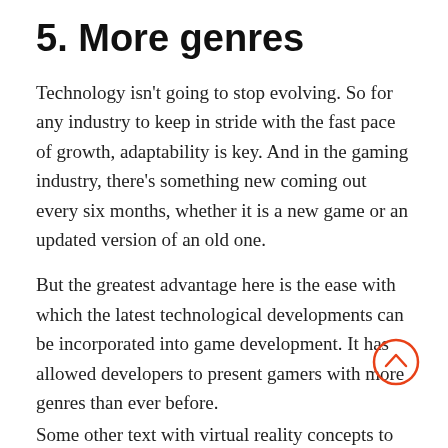5. More genres
Technology isn't going to stop evolving. So for any industry to keep in stride with the fast pace of growth, adaptability is key. And in the gaming industry, there's something new coming out every six months, whether it is a new game or an updated version of an old one.
But the greatest advantage here is the ease with which the latest technological developments can be incorporated into game development. It has allowed developers to present gamers with more genres than ever before.
Some other text beginning partially cut off at bottom...